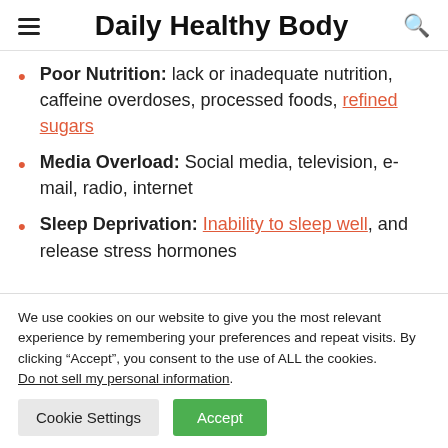Daily Healthy Body
Poor Nutrition: lack or inadequate nutrition, caffeine overdoses, processed foods, refined sugars
Media Overload: Social media, television, e-mail, radio, internet
Sleep Deprivation: Inability to sleep well, and release stress hormones
We use cookies on our website to give you the most relevant experience by remembering your preferences and repeat visits. By clicking “Accept”, you consent to the use of ALL the cookies. Do not sell my personal information.